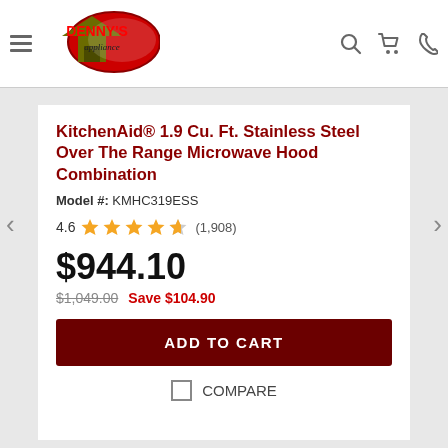Denny's Appliance
KitchenAid® 1.9 Cu. Ft. Stainless Steel Over The Range Microwave Hood Combination
Model #: KMHC319ESS
4.6 (1,908)
$944.10
$1,049.00  Save $104.90
ADD TO CART
COMPARE